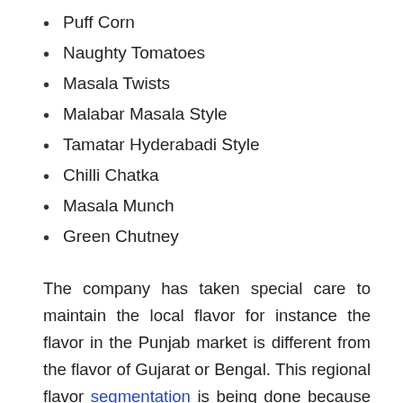Puff Corn
Naughty Tomatoes
Masala Twists
Malabar Masala Style
Tamatar Hyderabadi Style
Chilli Chatka
Masala Munch
Green Chutney
The company has taken special care to maintain the local flavor for instance the flavor in the Punjab market is different from the flavor of Gujarat or Bengal. This regional flavor segmentation is being done because the brand wants to cater to the whims of different sections of the society. It also wants to answer the competition from through new and innovative ideas. Under this game plan, the company has decided to use dal in